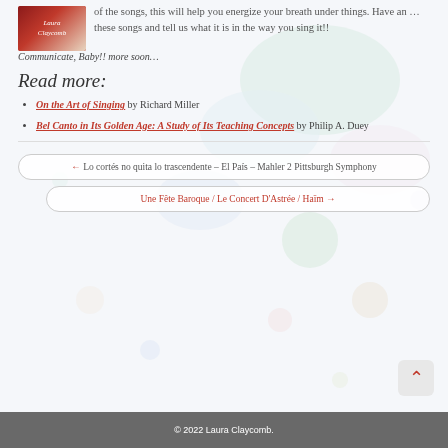of the songs, this will help you energize your breath under things. Have an ... these songs and tell us what it is in the way you sing it!! Communicate, Baby!! more soon...
[Figure (logo): Laura Claycomb blog logo badge with red background and figure illustration]
Read more:
On the Art of Singing by Richard Miller
Bel Canto in Its Golden Age: A Study of Its Teaching Concepts by Philip A. Duey
← Lo cortés no quita lo trascendente – El País – Mahler 2 Pittsburgh Symphony
Une Fête Baroque / Le Concert D'Astrée / Haïm →
© 2022 Laura Claycomb.